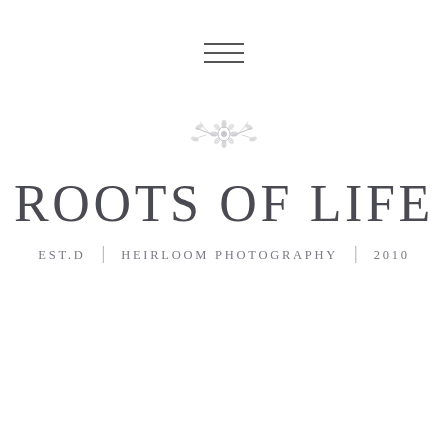[Figure (logo): Hamburger menu icon — three horizontal lines stacked]
[Figure (illustration): Small decorative floral/botanical ornament in light gray]
ROOTS OF LIFE
EST.D | HEIRLOOM PHOTOGRAPHY | 2010